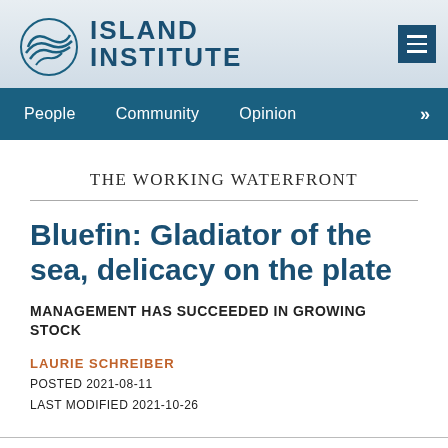[Figure (logo): Island Institute logo with circular wave graphic and text ISLAND INSTITUTE in teal/navy]
People   Community   Opinion   >>
THE WORKING WATERFRONT
Bluefin: Gladiator of the sea, delicacy on the plate
MANAGEMENT HAS SUCCEEDED IN GROWING STOCK
LAURIE SCHREIBER
POSTED 2021-08-11
LAST MODIFIED 2021-10-26